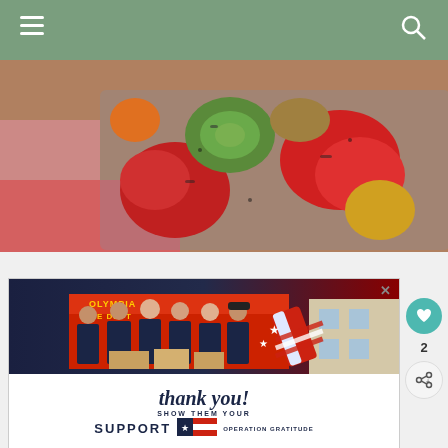Navigation header with hamburger menu and search icon
[Figure (photo): Overhead view of grilled/roasted vegetables including red peppers, zucchini, and other colorful vegetables on a baking tray with a red checkered cloth]
[Figure (photo): Advertisement showing firefighters from Olympia Fire Dept standing in front of a fire truck, with 'thank you! SHOW THEM YOUR SUPPORT OPERATION GRATITUDE' text and US flag/stars imagery. Has a close (X) button in top right.]
2
[Figure (infographic): Heart/like button (teal circle) and share button (light circle with share icon) in sidebar]